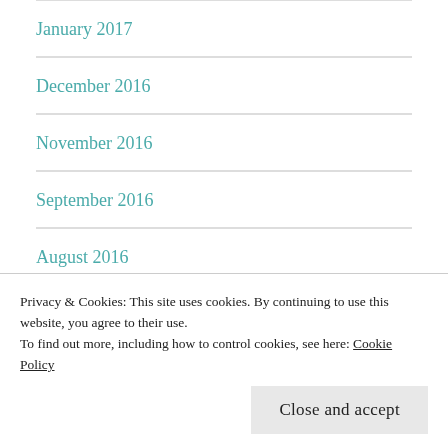January 2017
December 2016
November 2016
September 2016
August 2016
July 2016
June 2016
March 2016
Privacy & Cookies: This site uses cookies. By continuing to use this website, you agree to their use. To find out more, including how to control cookies, see here: Cookie Policy
Close and accept